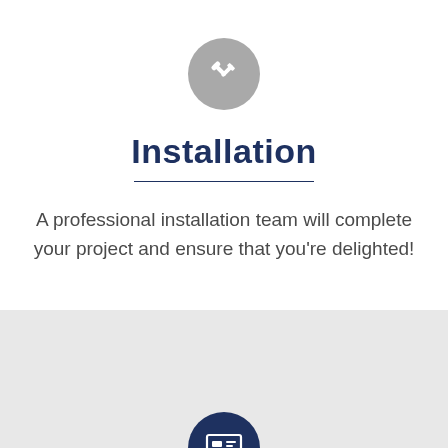[Figure (illustration): Gray circle icon with white crossed wrench and screwdriver tools]
Installation
A professional installation team will complete your project and ensure that you're delighted!
[Figure (illustration): Dark navy circle icon with white newspaper/list document symbol]